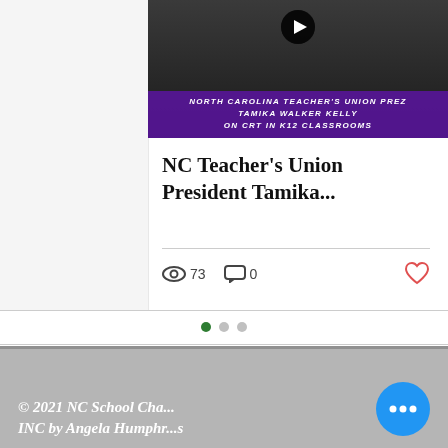[Figure (screenshot): Video thumbnail showing a woman with text overlay reading 'NORTH CAROLINA TEACHER'S UNION PREZ TAMIKA WALKER KELLY ON CRT IN K12 CLASSROOMS' on a purple banner, with a play button visible at the top.]
NC Teacher's Union President Tamika...
73   0
© 2021 NC School Cha... INC by Angela Humphr...s